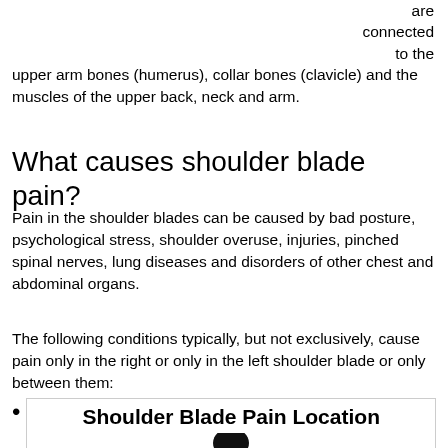are connected to the upper arm bones (humerus), collar bones (clavicle) and the muscles of the upper back, neck and arm.
What causes shoulder blade pain?
Pain in the shoulder blades can be caused by bad posture, psychological stress, shoulder overuse, injuries, pinched spinal nerves, lung diseases and disorders of other chest and abdominal organs.
The following conditions typically, but not exclusively, cause pain only in the right or only in the left shoulder blade or only between them:
Shoulder Blade Pain Location
[Figure (illustration): Illustration of shoulder blade pain location showing the back of a human figure]